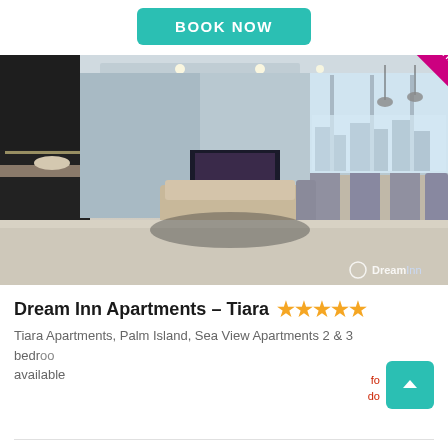[Figure (other): BOOK NOW button - teal rounded rectangle button at top center of page]
[Figure (photo): Interior photo of a luxury apartment showing open-plan living room, dining area, kitchen island, and floor-to-ceiling windows with city view. A magenta diagonal ribbon banner reads '3 BEDS APARTMENT'. DreamInn watermark at bottom right.]
Dream Inn Apartments – Tiara ★★★★★
Tiara Apartments, Palm Island, Sea View Apartments 2 & 3 bedrooms available